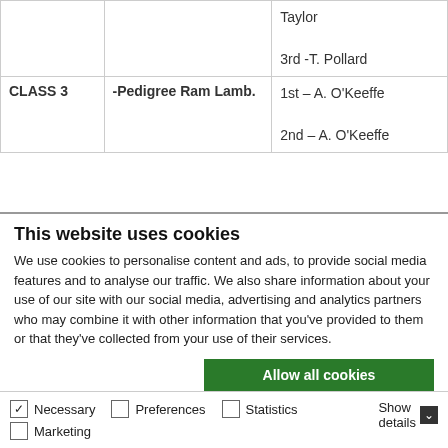|  |  |  |
| --- | --- | --- |
|  |  | Taylor

3rd -T. Pollard |
| CLASS 3 | -Pedigree Ram Lamb. | 1st – A. O'Keeffe

2nd – A. O'Keeffe |
This website uses cookies
We use cookies to personalise content and ads, to provide social media features and to analyse our traffic. We also share information about your use of our site with our social media, advertising and analytics partners who may combine it with other information that you've provided to them or that they've collected from your use of their services.
Allow all cookies
Allow selection
Use necessary cookies only
Necessary  Preferences  Statistics  Marketing  Show details